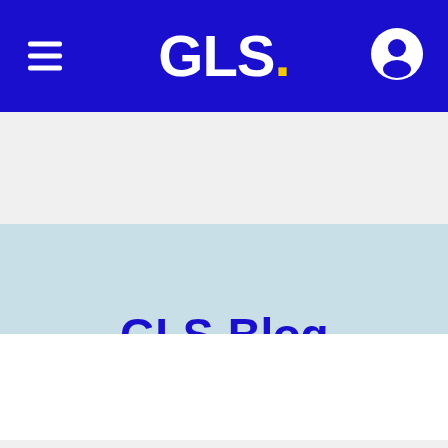GLS. [navigation bar with hamburger menu and user icon]
GLS-Blog
Current   Archive